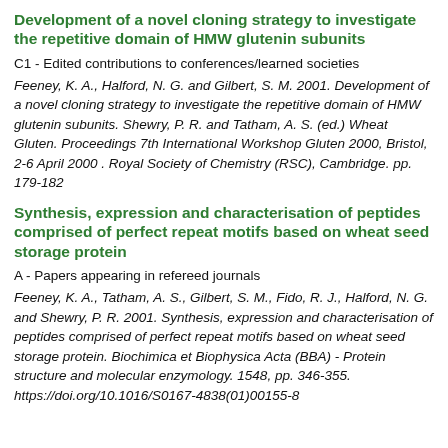Development of a novel cloning strategy to investigate the repetitive domain of HMW glutenin subunits
C1 - Edited contributions to conferences/learned societies
Feeney, K. A., Halford, N. G. and Gilbert, S. M. 2001. Development of a novel cloning strategy to investigate the repetitive domain of HMW glutenin subunits. Shewry, P. R. and Tatham, A. S. (ed.) Wheat Gluten. Proceedings 7th International Workshop Gluten 2000, Bristol, 2-6 April 2000 . Royal Society of Chemistry (RSC), Cambridge. pp. 179-182
Synthesis, expression and characterisation of peptides comprised of perfect repeat motifs based on wheat seed storage protein
A - Papers appearing in refereed journals
Feeney, K. A., Tatham, A. S., Gilbert, S. M., Fido, R. J., Halford, N. G. and Shewry, P. R. 2001. Synthesis, expression and characterisation of peptides comprised of perfect repeat motifs based on wheat seed storage protein. Biochimica et Biophysica Acta (BBA) - Protein structure and molecular enzymology. 1548, pp. 346-355. https://doi.org/10.1016/S0167-4838(01)00155-8